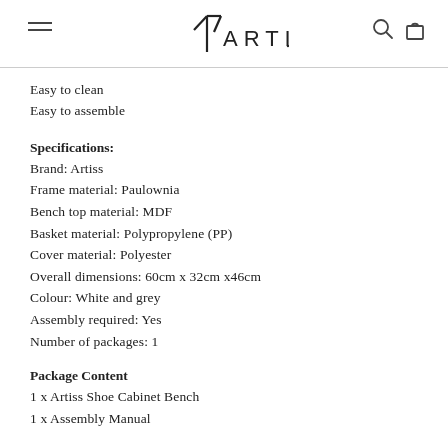ARTISS
Easy to clean
Easy to assemble
Specifications:
Brand: Artiss
Frame material: Paulownia
Bench top material: MDF
Basket material: Polypropylene (PP)
Cover material: Polyester
Overall dimensions: 60cm x 32cm x46cm
Colour: White and grey
Assembly required: Yes
Number of packages: 1
Package Content
1 x Artiss Shoe Cabinet Bench
1 x Assembly Manual